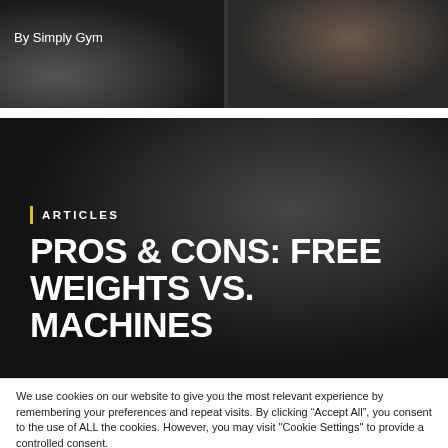[Figure (photo): Two gym photos side by side — left shows gym equipment with dark background, right shows a person in gym wear. Text 'By Simply Gym' overlaid on left image.]
By Simply Gym
[Figure (photo): Dark gym interior with equipment, used as article banner background. Overlaid with category label ARTICLES and large title text PROS & CONS: FREE WEIGHTS VS. MACHINES]
ARTICLES
PROS & CONS: FREE WEIGHTS VS. MACHINES
We use cookies on our website to give you the most relevant experience by remembering your preferences and repeat visits. By clicking “Accept All”, you consent to the use of ALL the cookies. However, you may visit "Cookie Settings" to provide a controlled consent.